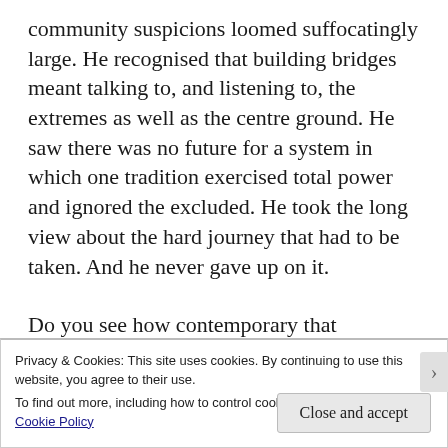community suspicions loomed suffocatingly large. He recognised that building bridges meant talking to, and listening to, the extremes as well as the centre ground. He saw there was no future for a system in which one tradition exercised total power and ignored the excluded. He took the long view about the hard journey that had to be taken. And he never gave up on it.
Do you see how contemporary that exchange
Privacy & Cookies: This site uses cookies. By continuing to use this website, you agree to their use.
To find out more, including how to control cookies, see here: Cookie Policy